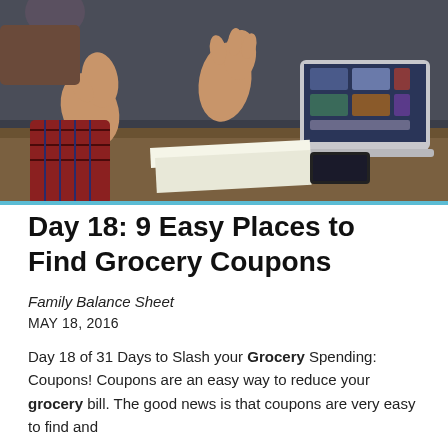[Figure (photo): Two people at a meeting table, one with hands raised gesturing, a laptop is open on the table with a phone and notebook]
Day 18: 9 Easy Places to Find Grocery Coupons
Family Balance Sheet
MAY 18, 2016
Day 18 of 31 Days to Slash your Grocery Spending: Coupons! Coupons are an easy way to reduce your grocery bill. The good news is that coupons are very easy to find and